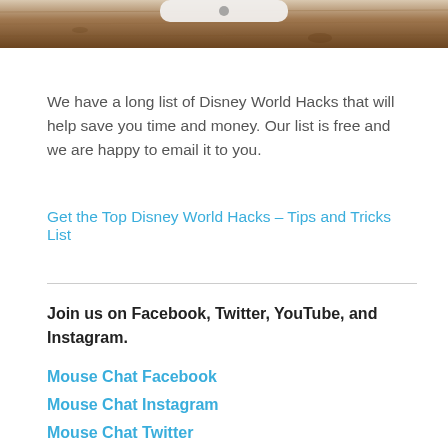[Figure (photo): Bottom portion of a photo showing a wooden surface, cropped at top of page]
We have a long list of Disney World Hacks that will help save you time and money. Our list is free and we are happy to email it to you.
Get the Top Disney World Hacks – Tips and Tricks List
Join us on Facebook, Twitter, YouTube, and Instagram.
Mouse Chat Facebook
Mouse Chat Instagram
Mouse Chat Twitter
Mouse Chat YouTube